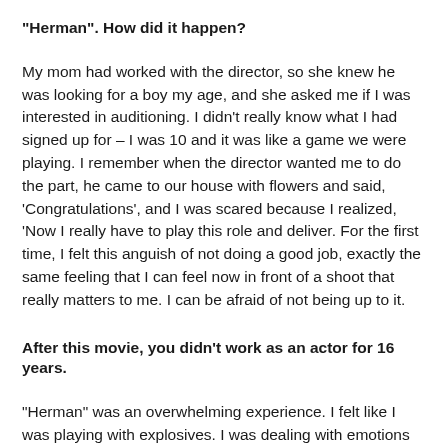“Herman”. How did it happen?
My mom had worked with the director, so she knew he was looking for a boy my age, and she asked me if I was interested in auditioning. I didn’t really know what I had signed up for – I was 10 and it was like a game we were playing. I remember when the director wanted me to do the part, he came to our house with flowers and said, ‘Congratulations’, and I was scared because I realized, ‘Now I really have to play this role and deliver. For the first time, I felt this anguish of not doing a good job, exactly the same feeling that I can feel now in front of a shoot that really matters to me. I can be afraid of not being up to it.
After this movie, you didn’t work as an actor for 16 years.
“Herman” was an overwhelming experience. I felt like I was playing with explosives. I was dealing with emotions and manipulating my psyche in a pretty scary way.